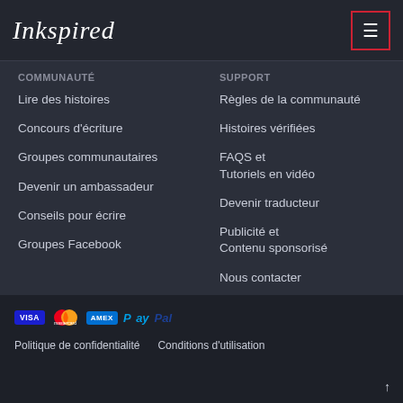Inkspired
COMMUNAUTÉ
Lire des histoires
Concours d'écriture
Groupes communautaires
Devenir un ambassadeur
Conseils pour écrire
Groupes Facebook
SUPPORT
Règles de la communauté
Histoires vérifiées
FAQS et Tutoriels en vidéo
Devenir traducteur
Publicité et Contenu sponsorisé
Nous contacter
Politique de confidentialité   Conditions d'utilisation